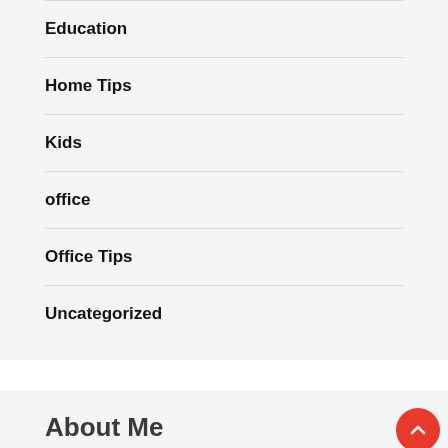Education
Home Tips
Kids
office
Office Tips
Uncategorized
About Me
[Figure (photo): Portrait photo partially visible at bottom of page]